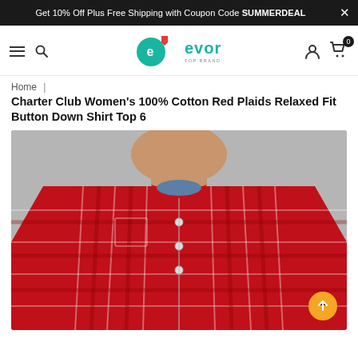Get 10% Off Plus Free Shipping with Coupon Code SUMMERDEAL
[Figure (logo): Evorr.com logo - circular e icon with 'evorr' text and tagline 'TOP BRANDS BEST PRICES']
Home | Charter Club Women's 100% Cotton Red Plaids Relaxed Fit Button Down Shirt Top 6
Charter Club Women's 100% Cotton Red Plaids Relaxed Fit Button Down Shirt Top 6
[Figure (photo): A woman wearing a red plaid flannel button-down shirt with blue collar detail, cropped at neck/chest level, on grey background.]